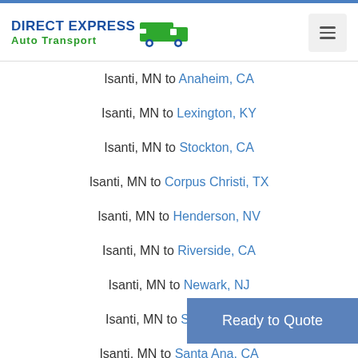DIRECT EXPRESS Auto Transport
Isanti, MN to Anaheim, CA
Isanti, MN to Lexington, KY
Isanti, MN to Stockton, CA
Isanti, MN to Corpus Christi, TX
Isanti, MN to Henderson, NV
Isanti, MN to Riverside, CA
Isanti, MN to Newark, NJ
Isanti, MN to St. Paul, MN
Isanti, MN to Santa Ana, CA